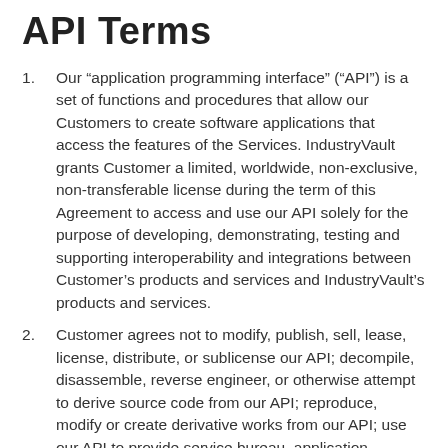API Terms
Our “application programming interface” (“API”) is a set of functions and procedures that allow our Customers to create software applications that access the features of the Services. IndustryVault grants Customer a limited, worldwide, non-exclusive, non-transferable license during the term of this Agreement to access and use our API solely for the purpose of developing, demonstrating, testing and supporting interoperability and integrations between Customer’s products and services and IndustryVault’s products and services.
Customer agrees not to modify, publish, sell, lease, license, distribute, or sublicense our API; decompile, disassemble, reverse engineer, or otherwise attempt to derive source code from our API; reproduce, modify or create derivative works from our API; use our API to provide service bureau, application hosting, or